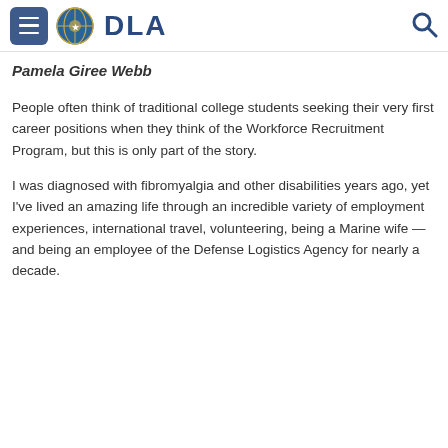DLA
Pamela Giree Webb
People often think of traditional college students seeking their very first career positions when they think of the Workforce Recruitment Program, but this is only part of the story.
I was diagnosed with fibromyalgia and other disabilities years ago, yet I've lived an amazing life through an incredible variety of employment experiences, international travel, volunteering, being a Marine wife — and being an employee of the Defense Logistics Agency for nearly a decade.